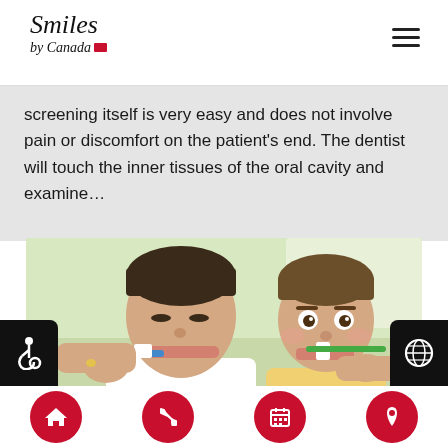Smiles by Canada
screening itself is very easy and does not involve pain or discomfort on the patient's end. The dentist will touch the inner tissues of the oral cavity and examine…
[Figure (photo): A father and young child brushing teeth together, both holding toothbrushes, smiling in a bathroom setting]
Home | Phone | Calendar | Location navigation icons